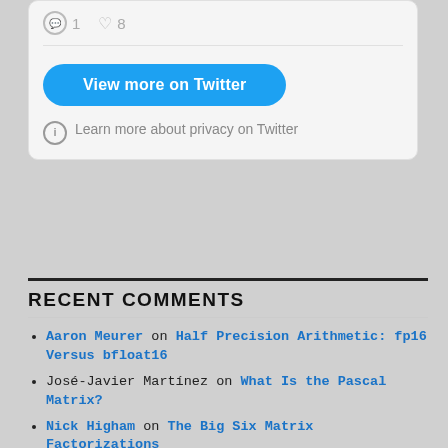[Figure (screenshot): Twitter embedded widget showing comment/like count (1 comment, 8 likes), a 'View more on Twitter' button, and a privacy notice: 'Learn more about privacy on Twitter']
RECENT COMMENTS
Aaron Meurer on Half Precision Arithmetic: fp16 Versus bfloat16
José-Javier Martínez on What Is the Pascal Matrix?
Nick Higham on The Big Six Matrix Factorizations
Pieter Ghysels on The Big Six Matrix Factorizations
Nick Higham on What Is a Condition Number?
CATEGORIES